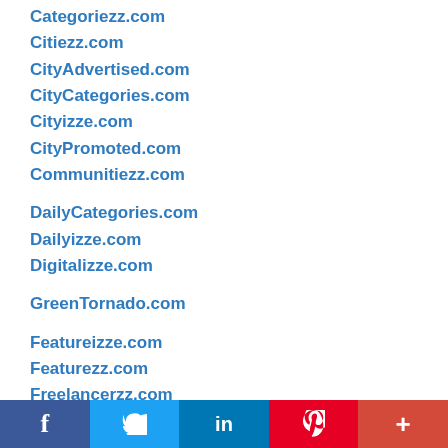Categoriezz.com
Citiezz.com
CityAdvertised.com
CityCategories.com
Cityizze.com
CityPromoted.com
Communitiezz.com
DailyCategories.com
Dailyizze.com
Digitalizze.com
GreenTornado.com
Featureizze.com
Featurezz.com
Freelancerzz.com